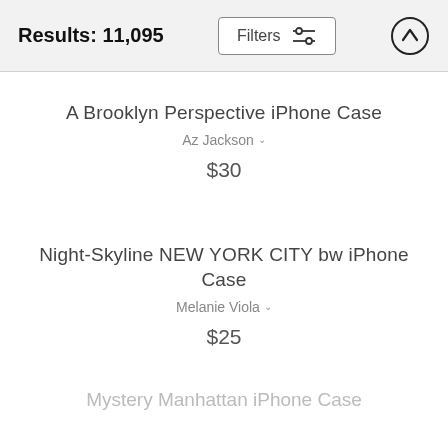Results: 11,095 | Filters
A Brooklyn Perspective iPhone Case
Az Jackson
$30
Night-Skyline NEW YORK CITY bw iPhone Case
Melanie Viola
$25
Mystery Manhattan iPhone Case